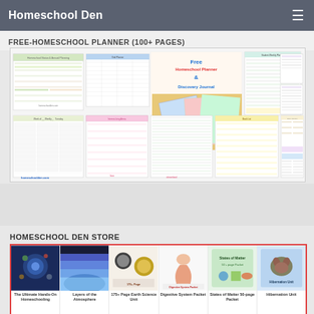Homeschool Den
FREE-HOMESCHOOL PLANNER (100+ PAGES)
[Figure (screenshot): Collage of free homeschool planner and discovery journal printable pages from homeschoolden.com, showing various planner sheets, weekly planners, and journal pages]
HOMESCHOOL DEN STORE
[Figure (screenshot): Store grid showing 6 product thumbnails: The Ultimate Hands-On Homeschooling, Layers of the Atmosphere, 175+ Page Earth Science Unit, Digestive System Packet, States of Matter 50-page Packet, Hibernation Unit]